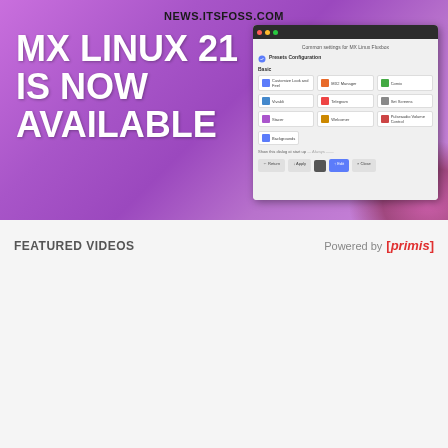[Figure (screenshot): MX Linux 21 promotional banner with purple gradient background. Shows text 'NEWS.ITSFOSS.COM' at top, large white bold text 'MX LINUX 21 IS NOW AVAILABLE', and a screenshot of the MX Linux settings dialog on the right.]
FEATURED VIDEOS
Powered by [primis]
[Figure (screenshot): Video player showing '7 Apt Commands Every Ubuntu Linux User Sho...' with a dark green background thumbnail featuring '7 MUST KNOW APT COMMANDS' text, a play button, IT'S FOSS branding, and a teal Subscribe button.]